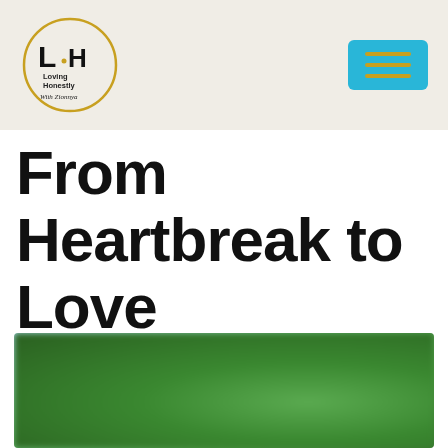[Figure (logo): Loving Honestly With Zionnya circular logo with LH initials, gold circle border, black serif letters]
[Figure (other): Cyan/teal hamburger menu button with three gold horizontal lines]
From Heartbreak to Love
[Figure (photo): Blurred outdoor nature photo showing green foliage/trees against a light blue sky background]